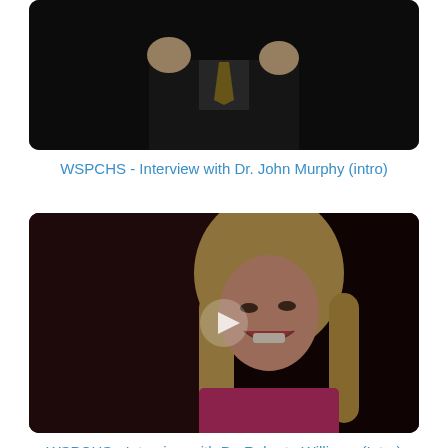[Figure (screenshot): Video thumbnail showing a man in a dark suit with a gold tie, partially visible from the chest up, clapping or gesturing with hands raised, dark background.]
WSPCHS - Interview with Dr. John Murphy (intro)
[Figure (screenshot): Video thumbnail showing a smiling woman with long blonde hair wearing a pink/magenta top, dark background, with a play button overlay in the center.]
WSPCHS - Interview with Dr. Roberta Williams (Intro)